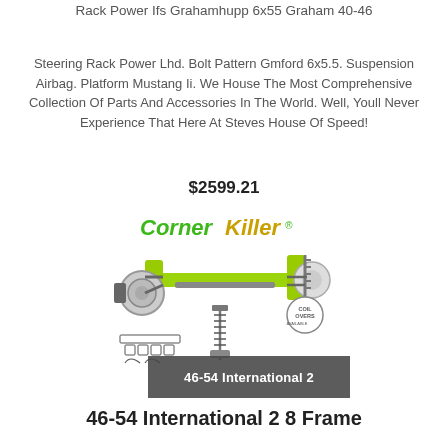Rack Power Ifs Grahamhupp 6x55 Graham 40-46
Steering Rack Power Lhd. Bolt Pattern Gmford 6x5.5. Suspension Airbag. Platform Mustang Ii. We House The Most Comprehensive Collection Of Parts And Accessories In The World. Well, Youll Never Experience That Here At Steves House Of Speed!
$2599.21
[Figure (photo): CornerKiller IFS front suspension assembly product photo with lime green components and coil-over badge, plus exploded parts diagram below]
46-54 International 2
46-54 International 2 8 Frame Cornerkiller Ifs Coil Over 5x55